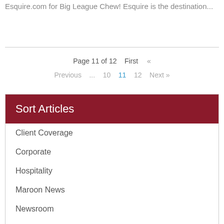Esquire.com for Big League Chew! Esquire is the destination...
Page 11 of 12   First   «
Previous   ...   10   11   12   Next »
Sort Articles
Client Coverage
Corporate
Hospitality
Maroon News
Newsroom
Nonprofit
Recent Posts